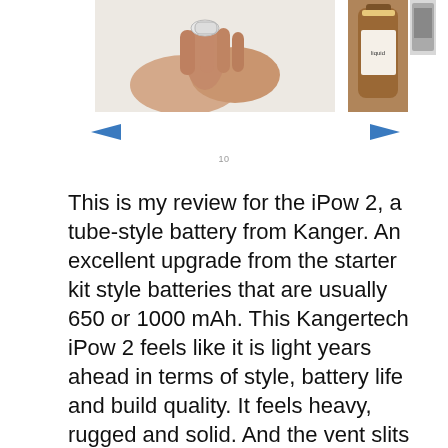[Figure (photo): Left photo: fingers holding a small white object on white background]
[Figure (photo): Right photos: brown bottle with liquid and a small product image]
10
This is my review for the iPow 2, a tube-style battery from Kanger. An excellent upgrade from the starter kit style batteries that are usually 650 or 1000 mAh. This Kangertech iPow 2 feels like it is light years ahead in terms of style, battery life and build quality. It feels heavy, rugged and solid. And the vent slits in the stainless steel Kangertech iPow 2 1600mAh battery (one with QR scan code on the box). Kangertech Protank 2 Kangertech 1.8 ohms dual coil eLiquid used: Vanilla Ice Cream 50/50 PG/VG 12 concentration (brand tagline)